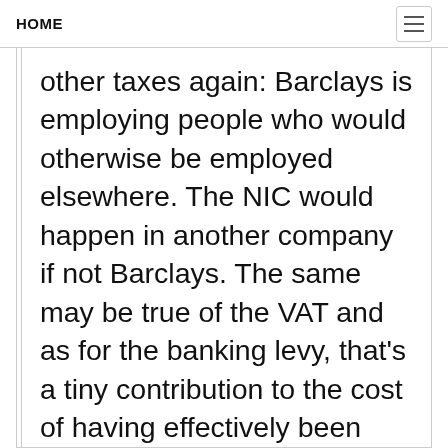HOME
other taxes again: Barclays is employing people who would otherwise be employed elsewhere. The NIC would happen in another company if not Barclays. The same may be true of the VAT and as for the banking levy, that's a tiny contribution to the cost of having effectively been bailed out by the UK taxpayer in 2008 - which all banks were as it was the system as a whole that failed. So let's ignore claim that Barclays is contributing to the UK in these ways: it is not doing anything